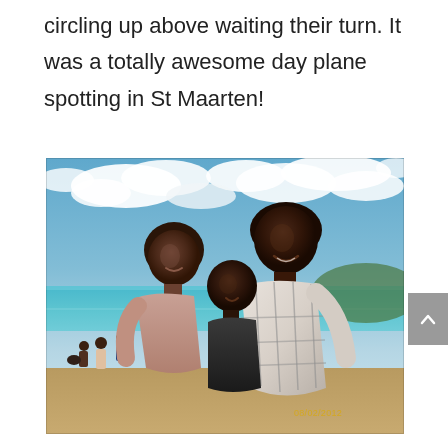circling up above waiting their turn. It was a totally awesome day plane spotting in St Maarten!
[Figure (photo): A family of three — a woman, a man, and a young child — posing together on a beach in St Maarten. The woman is on the left, the child is in the middle being held, and the man is on the right. The background shows blue sky with white clouds and turquoise ocean water. There is a date stamp reading 08/02/2012 in the bottom right of the photo. Other people and beach activity are visible in the background.]